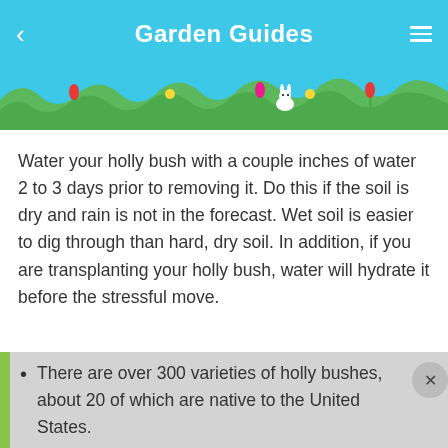Garden Guides
[Figure (illustration): Garden scene illustration with green grass silhouettes, colorful flowers (red, yellow, pink tulips), and a white rabbit against a sky-blue background]
Water your holly bush with a couple inches of water 2 to 3 days prior to removing it. Do this if the soil is dry and rain is not in the forecast. Wet soil is easier to dig through than hard, dry soil. In addition, if you are transplanting your holly bush, water will hydrate it before the stressful move.
There are over 300 varieties of holly bushes, about 20 of which are native to the United States.